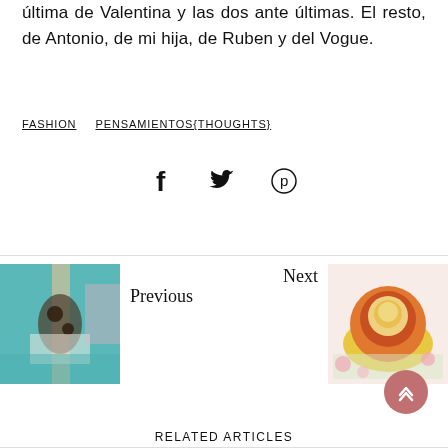última de Valentina y las dos ante últimas. El resto, de Antonio, de mi hija, de Ruben y del Vogue.
FASHION
PENSAMIENTOS{THOUGHTS}
[Figure (other): Social sharing icons: Facebook (f), Twitter (bird), Pinterest (P)]
Previous
[Figure (photo): Food photo showing a dish with mushrooms and cream on a teal background]
Next
[Figure (photo): Food photo showing a pastry/dough rose cup filled with egg on a yellow plate with flowers]
RELATED ARTICLES